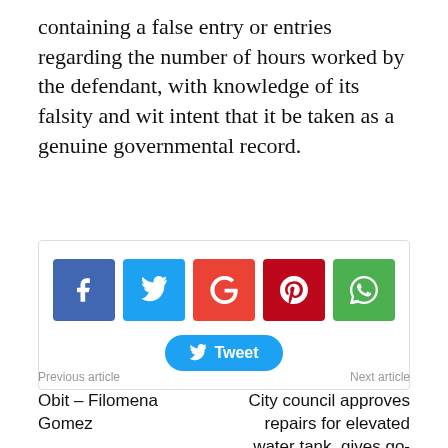containing a false entry or entries regarding the number of hours worked by the defendant, with knowledge of its falsity and wit intent that it be taken as a genuine governmental record.
[Figure (infographic): Social share buttons: Facebook, Twitter, Google+, Pinterest, WhatsApp icons, and a Tweet button]
Previous article
Obit – Filomena Gomez
Next article
City council approves repairs for elevated water tank, gives go-ahead for city promotion